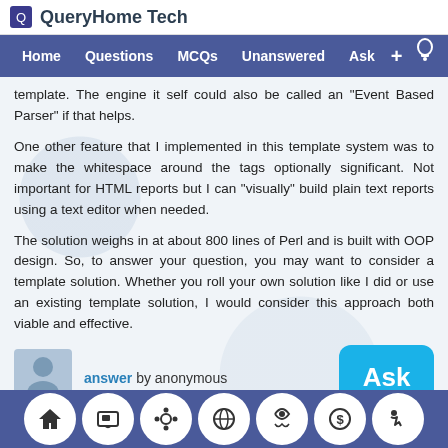QueryHome Tech
Home  Questions  MCQs  Unanswered  Ask  +
template. The engine it self could also be called an "Event Based Parser" if that helps.
One other feature that I implemented in this template system was to make the whitespace around the tags optionally significant. Not important for HTML reports but I can "visually" build plain text reports using a text editor when needed.
The solution weighs in at about 800 lines of Perl and is built with OOP design. So, to answer your question, you may want to consider a template solution. Whether you roll your own solution like I did or use an existing template solution, I would consider this approach both viable and effective.
answer by anonymous
Comment
Home  Computer  Puzzle  Globe  Headphones  Dollar  Run